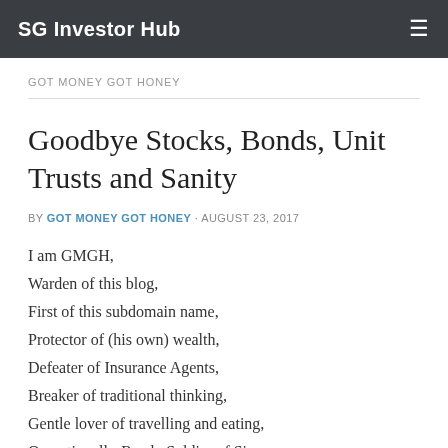SG Investor Hub
GOT MONEY GOT HONEY
Goodbye Stocks, Bonds, Unit Trusts and Sanity
BY GOT MONEY GOT HONEY · AUGUST 23, 2017
I am GMGH,
Warden of this blog,
First of this subdomain name,
Protector of (his own) wealth,
Defeater of Insurance Agents,
Breaker of traditional thinking,
Gentle lover of travelling and eating,
Operationally-Ready Soldier of Singapore,